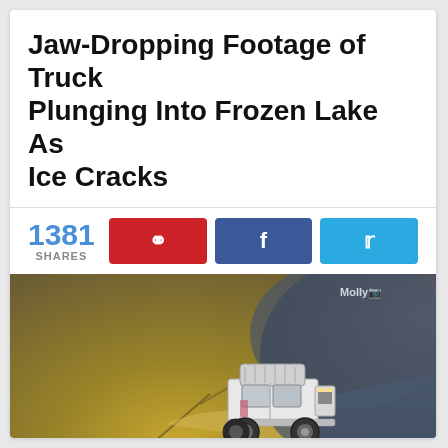Jaw-Dropping Footage of Truck Plunging Into Frozen Lake As Ice Cracks
1381 SHARES
[Figure (screenshot): Video thumbnail showing an aerial view of a white 4x4 truck/Land Rover on cracked ice at the edge of a frozen lake, with dark water visible. Watermark reads 'Molly' (partial).]